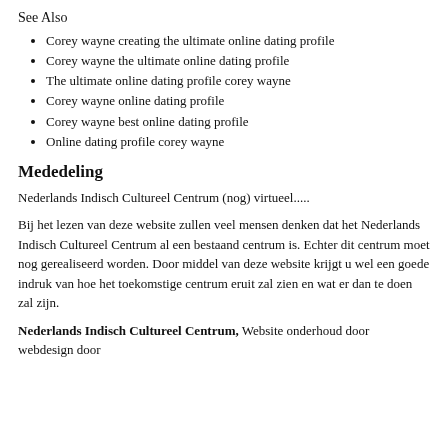See Also
Corey wayne creating the ultimate online dating profile
Corey wayne the ultimate online dating profile
The ultimate online dating profile corey wayne
Corey wayne online dating profile
Corey wayne best online dating profile
Online dating profile corey wayne
Mededeling
Nederlands Indisch Cultureel Centrum (nog) virtueel.....
Bij het lezen van deze website zullen veel mensen denken dat het Nederlands Indisch Cultureel Centrum al een bestaand centrum is. Echter dit centrum moet nog gerealiseerd worden. Door middel van deze website krijgt u wel een goede indruk van hoe het toekomstige centrum eruit zal zien en wat er dan te doen zal zijn.
Nederlands Indisch Cultureel Centrum, Website onderhoud door
webdesign door